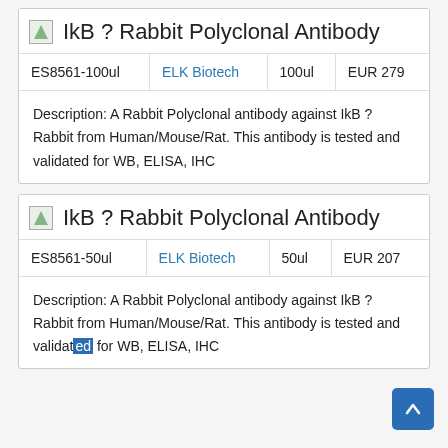|  | IkB ? Rabbit Polyclonal Antibody |
| --- | --- |
| ES8561-100ul | ELK Biotech | 100ul | EUR 279 |
Description: A Rabbit Polyclonal antibody against IkB ? Rabbit from Human/Mouse/Rat. This antibody is tested and validated for WB, ELISA, IHC
|  | IkB ? Rabbit Polyclonal Antibody |
| --- | --- |
| ES8561-50ul | ELK Biotech | 50ul | EUR 207 |
Description: A Rabbit Polyclonal antibody against IkB ? Rabbit from Human/Mouse/Rat. This antibody is tested and validated for WB, ELISA, IHC